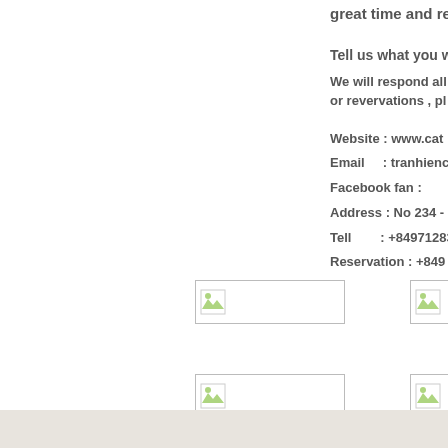great time and reco
Tell us what you w
We will respond all or revervations , pl
[Figure (other): Broken image placeholder in a bordered box]
[Figure (other): Broken image placeholder in a bordered box]
Website : www.cat
Email    : tranhienc
Facebook fan :
Address : No 234 -
Tell       : +849712832
Reservation : +849